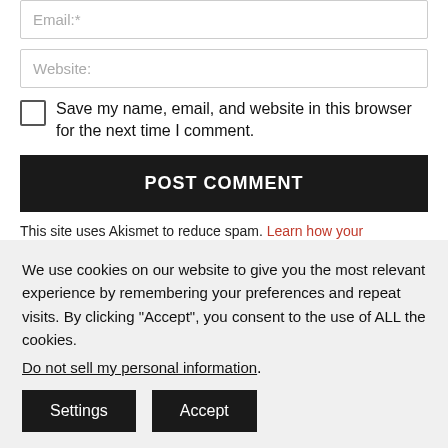Email:*
Website:
Save my name, email, and website in this browser for the next time I comment.
POST COMMENT
This site uses Akismet to reduce spam. Learn how your
We use cookies on our website to give you the most relevant experience by remembering your preferences and repeat visits. By clicking “Accept”, you consent to the use of ALL the cookies.
Do not sell my personal information.
Settings
Accept